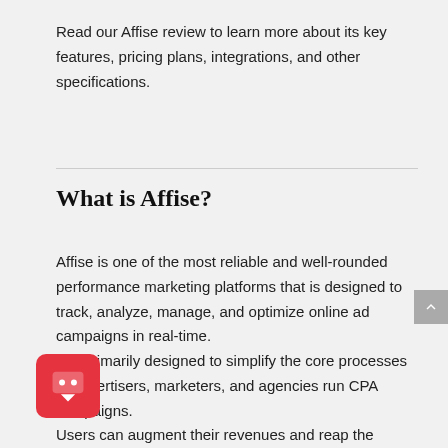Read our Affise review to learn more about its key features, pricing plans, integrations, and other specifications.
What is Affise?
Affise is one of the most reliable and well-rounded performance marketing platforms that is designed to track, analyze, manage, and optimize online ad campaigns in real-time.
It is primarily designed to simplify the core processes of advertisers, marketers, and agencies run CPA campaigns.
Users can augment their revenues and reap the benefits of running smart campaigns through their investment...